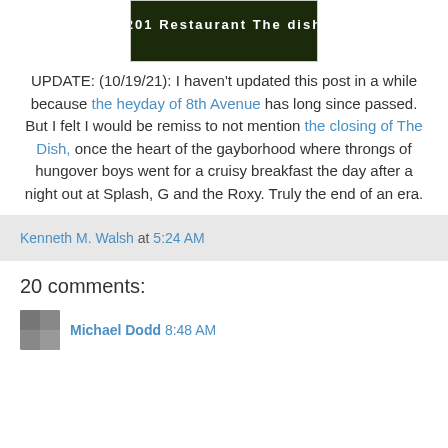[Figure (photo): Sign reading '201 Restaurant The dish' on dark green background]
UPDATE: (10/19/21): I haven't updated this post in a while because the heyday of 8th Avenue has long since passed. But I felt I would be remiss to not mention the closing of The Dish, once the heart of the gayborhood where throngs of hungover boys went for a cruisy breakfast the day after a night out at Splash, G and the Roxy. Truly the end of an era.
Kenneth M. Walsh at 5:24 AM
20 comments:
Michael Dodd 8:48 AM